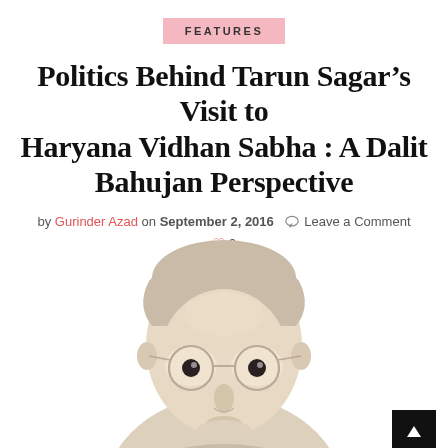FEATURES
Politics Behind Tarun Sagar’s Visit to Haryana Vidhan Sabha : A Dalit Bahujan Perspective
by Gurinder Azad on September 2, 2016  ◯ Leave a Comment
♥ 0
[Figure (illustration): Stylized illustration of a bespectacled man, likely Babasaheb Ambedkar, rendered in beige and grey tones with round wire-frame glasses, facing slightly to the right.]